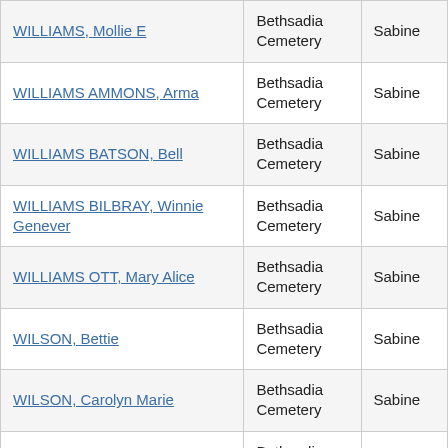| WILLIAMS, Mollie E | Bethsadia Cemetery | Sabine |
| WILLIAMS AMMONS, Arma | Bethsadia Cemetery | Sabine |
| WILLIAMS BATSON, Bell | Bethsadia Cemetery | Sabine |
| WILLIAMS BILBRAY, Winnie Genever | Bethsadia Cemetery | Sabine |
| WILLIAMS OTT, Mary Alice | Bethsadia Cemetery | Sabine |
| WILSON, Bettie | Bethsadia Cemetery | Sabine |
| WILSON, Carolyn Marie | Bethsadia Cemetery | Sabine |
| WILSON, Lee | Bethsadia Cemetery | Sabine |
| WILSON, Robert | Bethsadia Cemetery | Sabine |